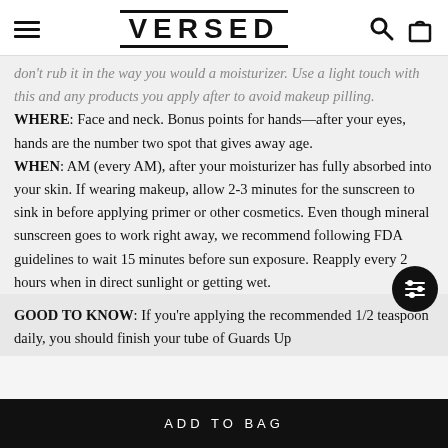VERSED
don't rub it in the way you would a moisturizer. Use a light touch with this and any products you apply after to avoid makeup pilling. WHERE: Face and neck. Bonus points for hands—after your eyes, hands are the number two spot that gives away age. WHEN: AM (every AM), after your moisturizer has fully absorbed into your skin. If wearing makeup, allow 2-3 minutes for the sunscreen to sink in before applying primer or other cosmetics. Even though mineral sunscreen goes to work right away, we recommend following FDA guidelines to wait 15 minutes before sun exposure. Reapply every 2 hours when in direct sunlight or getting wet.
GOOD TO KNOW: If you're applying the recommended 1/2 teaspoon daily, you should finish your tube of Guards Up
ADD TO BAG